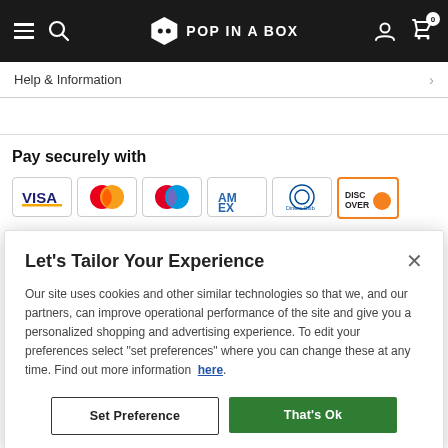POP IN A BOX
Help & Information
Pay securely with
[Figure (logo): Payment card logos: VISA, Mastercard, Maestro, American Express, Diners Club, Discover]
Let's Tailor Your Experience
Our site uses cookies and other similar technologies so that we, and our partners, can improve operational performance of the site and give you a personalized shopping and advertising experience. To edit your preferences select "set preferences" where you can change these at any time. Find out more information here.
Set Preference
That's Ok